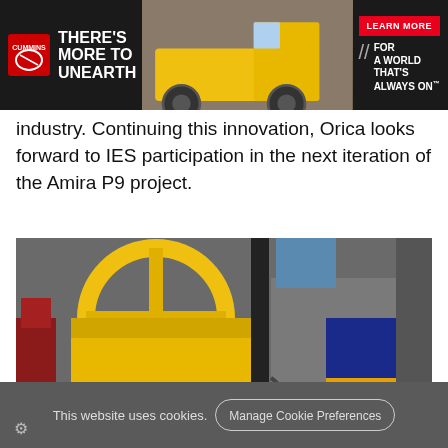[Figure (other): Cummins advertisement banner: logo on left with 'THERE'S MORE TO UNEARTH' tagline, mining truck image in center, red 'LEARN MORE' button, and 'FOR A WORLD THAT'S ALWAYS ON' slogan on right]
industry. Continuing this innovation, Orica looks forward to IES participation in the next iteration of the Amira P9 project.
[Figure (photo): A person wearing a white hard hat and grey jacket photographing industrial mining equipment including yellow machinery and blue motor in an industrial facility]
This website uses cookies.
Manage Cookie Preferences